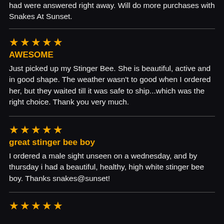had were answered right away. Will do more purchases with Snakes At Sunset.
★★★★★
AWESOME
Just picked up my Stinger Bee. She is beautiful, active and in good shape. The weather wasn't to good when I ordered her, but they waited till it was safe to ship...which was the right choice. Thank you very much.
★★★★★
great stinger bee boy
I ordered a male sight unseen on a wednesday, and by thursday i had a beautiful, healthy, high white stinger bee boy. Thanks snakes@sunset!
★★★★★